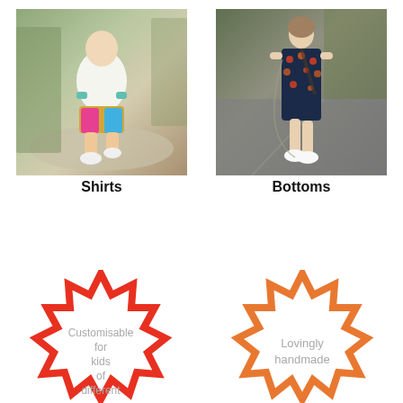[Figure (photo): Child running outdoors in colorful shorts and white sneakers, on gravel with tall grass in background]
Shirts
[Figure (photo): Person walking on a road in a dark floral dress and white sneakers]
Bottoms
[Figure (illustration): Red starburst/badge shape with text: Customisable for kids of different]
[Figure (illustration): Orange starburst/badge shape with text: Lovingly handmade]